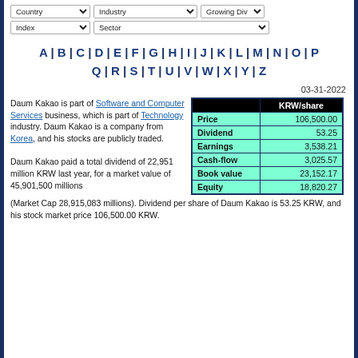Country | Industry | Growing Div | Index | Sector (filter dropdowns)
A | B | C | D | E | F | G | H | I | J | K | L | M | N | O | P | Q | R | S | T | U | V | W | X | Y | Z
03-31-2022
Daum Kakao is part of Software and Computer Services business, which is part of Technology industry. Daum Kakao is a company from Korea, and his stocks are publicly traded.
|  | KRW/share |
| --- | --- |
| Price | 106,500.00 |
| Dividend | 53.25 |
| Earnings | 3,538.21 |
| Cash-flow | 3,025.57 |
| Book value | 23,152.17 |
| Equity | 18,820.27 |
Daum Kakao paid a total dividend of 22,951 million KRW last year, for a market value of 45,901,500 millions (Market Cap 28,915,083 millions). Dividend per share of Daum Kakao is 53.25 KRW, and his stock market price 106,500.00 KRW.